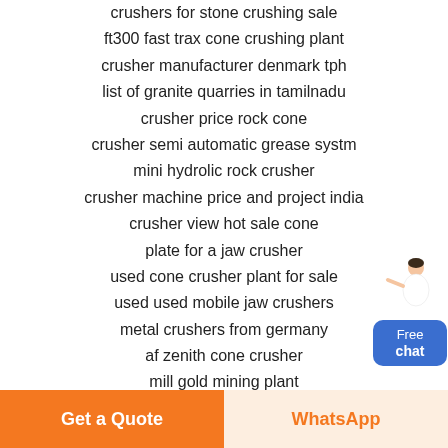crushers for stone crushing sale
ft300 fast trax cone crushing plant
crusher manufacturer denmark tph
list of granite quarries in tamilnadu
crusher price rock cone
crusher semi automatic grease systm
mini hydrolic rock crusher
crusher machine price and project india
crusher view hot sale cone
plate for a jaw crusher
used cone crusher plant for sale
used used mobile jaw crushers
metal crushers from germany
af zenith cone crusher
mill gold mining plant
crusher moving jaw rising temperature
rent rock crusher mill
bekas alat stone crusher
[Figure (illustration): Customer service person figure with Free chat button widget in top right corner]
Get a Quote
WhatsApp